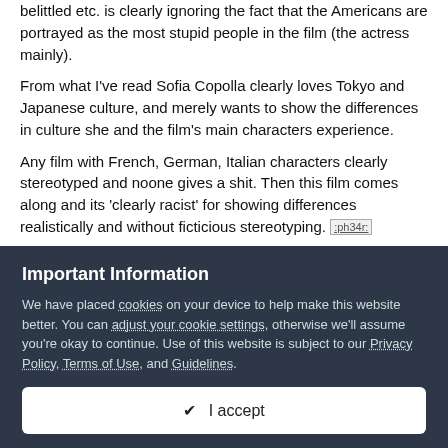belittled etc. is clearly ignoring the fact that the Americans are portrayed as the most stupid people in the film (the actress mainly).
From what I've read Sofia Copolla clearly loves Tokyo and Japanese culture, and merely wants to show the differences in culture she and the film's main characters experience.
Any film with French, German, Italian characters clearly stereotyped and noone gives a shit. Then this film comes along and its 'clearly racist' for showing differences realistically and without ficticious stereotyping. [image: ph34r] That guardian article is w*nk.
Important Information
We have placed cookies on your device to help make this website better. You can adjust your cookie settings, otherwise we'll assume you're okay to continue. Use of this website is subject to our Privacy Policy, Terms of Use, and Guidelines.
✔ I accept